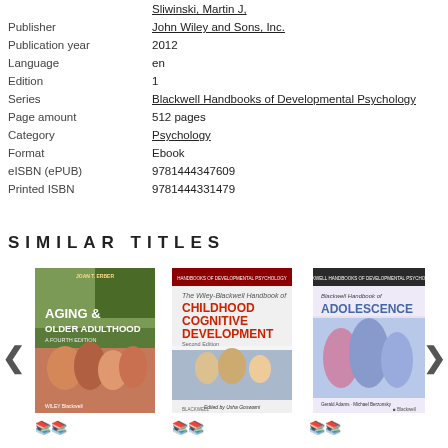|  | Sliwinski, Martin J, |
| Publisher | John Wiley and Sons, Inc. |
| Publication year | 2012 |
| Language | en |
| Edition | 1 |
| Series | Blackwell Handbooks of Developmental Psychology |
| Page amount | 512 pages |
| Category | Psychology |
| Format | Ebook |
| eISBN (ePUB) | 9781444347609 |
| Printed ISBN | 9781444331479 |
SIMILAR TITLES
[Figure (illustration): Three book covers shown side by side: 'Aging & Older Adulthood' by Joan T. Erber (Wiley Blackwell), 'The Wiley-Blackwell Handbook of Childhood Cognitive Development Second Edition' edited by Usha Goswami (Blackwell), and 'Blackwell Handbook of Adolescence' by Gerald Adams & Michael Berzonsky. Navigation arrows on left and right.]